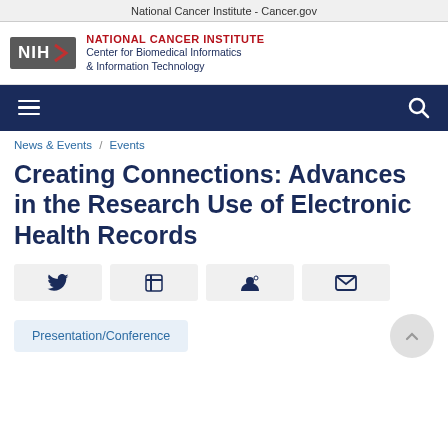National Cancer Institute - Cancer.gov
[Figure (logo): NIH National Cancer Institute Center for Biomedical Informatics & Information Technology logo]
[Figure (screenshot): Dark navy navigation bar with hamburger menu icon on left and search icon on right]
News & Events / Events
Creating Connections: Advances in the Research Use of Electronic Health Records
[Figure (infographic): Social sharing buttons: Twitter, LinkedIn, Reddit, Email]
Presentation/Conference